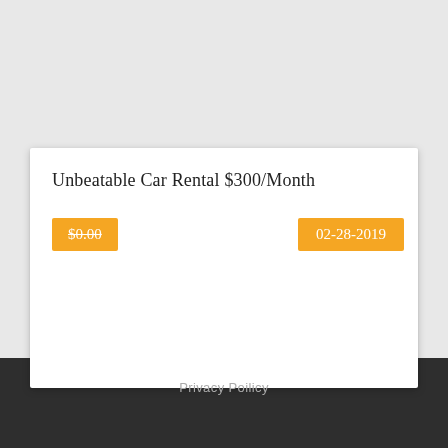Unbeatable Car Rental $300/Month
$0.00
02-28-2019
Privacy Poilicy